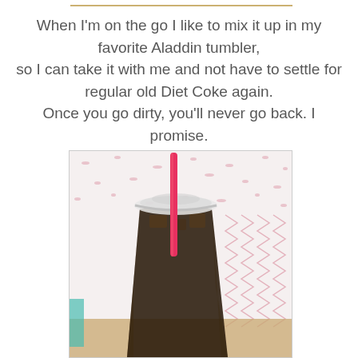[Figure (photo): Partial top edge of a previous image, showing a warm amber/tan colored surface]
When I'm on the go I like to mix it up in my favorite Aladdin tumbler, so I can take it with me and not have to settle for regular old Diet Coke again. Once you go dirty, you'll never go back. I promise.
[Figure (photo): A clear plastic Aladdin tumbler with a domed lid and a pink/red straw, filled with dark iced cola drink, placed against a pink and white patterned fabric background]